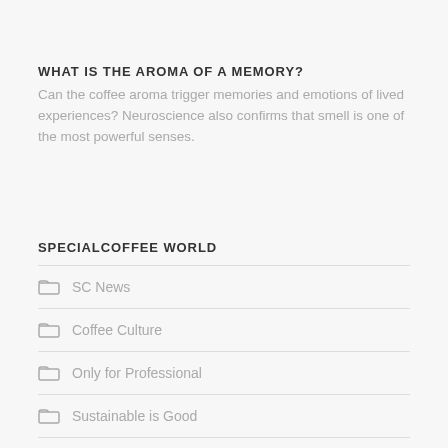WHAT IS THE AROMA OF A MEMORY?
Can the coffee aroma trigger memories and emotions of lived experiences? Neuroscience also confirms that smell is one of the most powerful senses.
SPECIALCOFFEE WORLD
SC News
Coffee Culture
Only for Professional
Sustainable is Good
Italians do it better